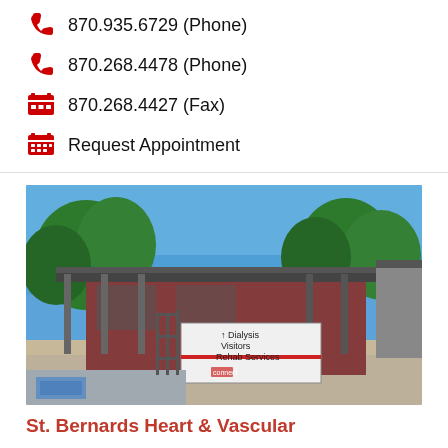870.935.6729 (Phone)
870.268.4478 (Phone)
870.268.4427 (Fax)
Request Appointment
[Figure (photo): Exterior photo of a brick medical building with covered walkway and a sign reading 'Dialysis, Visitors, Rehab Services' with an upward arrow. Blue sky and trees visible in background. Handicap parking space visible in foreground.]
St. Bernards Heart & Vascular